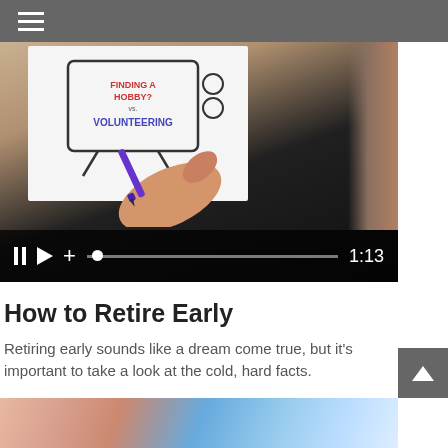Navigation menu (hamburger icon)
[Figure (screenshot): Video player showing a whiteboard animation with a hand drawing 'VOLUNTEERING' on a TV-shaped frame. Video controls bar shows pause, play, plus buttons, a progress bar with dot, and duration 1:13.]
How to Retire Early
Retiring early sounds like a dream come true, but it's important to take a look at the cold, hard facts.
[Figure (photo): Partial image at bottom showing fingers and what appears to be a game or puzzle with blue background.]